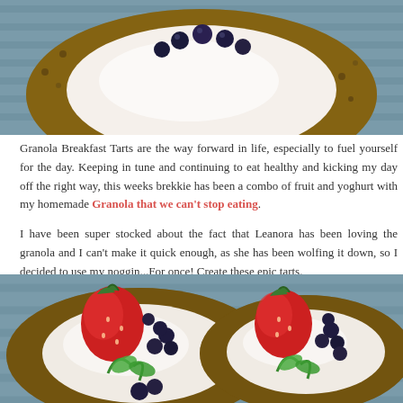[Figure (photo): Close-up top-down photo of a granola breakfast tart with white yoghurt filling and blueberries on top, on a striped blue-grey plate]
Granola Breakfast Tarts are the way forward in life, especially to fuel yourself for the day. Keeping in tune and continuing to eat healthy and kicking my day off the right way, this weeks brekkie has been a combo of fruit and yoghurt with my homemade Granola that we can't stop eating.
I have been super stocked about the fact that Leanora has been loving the granola and I can't make it quick enough, as she has been wolfing it down, so I decided to use my noggin...For once! Create these epic tarts.
[Figure (photo): Top-down photo of two granola breakfast tarts filled with white yoghurt, topped with fresh strawberries, blueberries, and mint leaves on a blue-grey striped plate]